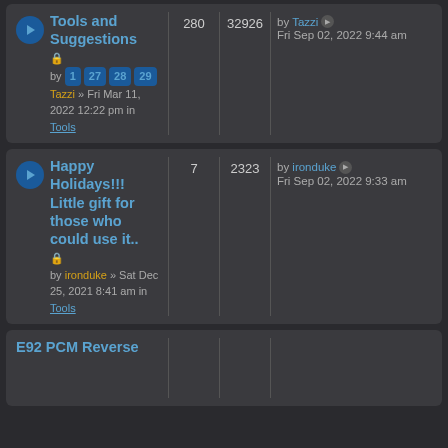Tools and Suggestions | 280 | 32926 | by Tazzi Fri Sep 02, 2022 9:44 am | by Tazzi » Fri Mar 11, 2022 12:22 pm in Tools
Happy Holidays!!! Little gift for those who could use it.. | 7 | 2323 | by ironduke Fri Sep 02, 2022 9:33 am | by ironduke » Sat Dec 25, 2021 8:41 am in Tools
E92 PCM Reverse